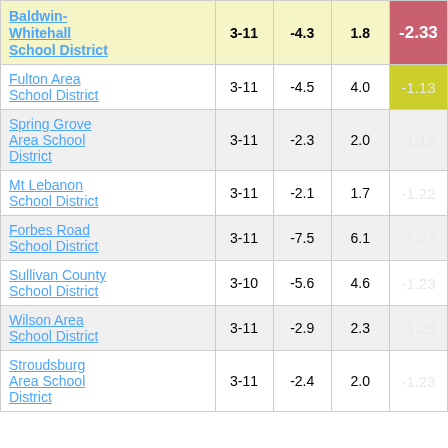| District | Grades | Col3 | Col4 | Score | Col6 |
| --- | --- | --- | --- | --- | --- |
| Baldwin-Whitehall School District | 3-11 | -4.3 | 1.8 | -2.33 | 2 |
| Fulton Area School District | 3-11 | -4.5 | 4.0 | -1.13 |  |
| Spring Grove Area School District | 3-11 | -2.3 | 2.0 | -1.15 |  |
| Mt Lebanon School District | 3-11 | -2.1 | 1.7 | -1.22 |  |
| Forbes Road School District | 3-11 | -7.5 | 6.1 | -1.22 |  |
| Sullivan County School District | 3-10 | -5.6 | 4.6 | -1.23 |  |
| Wilson Area School District | 3-11 | -2.9 | 2.3 | -1.23 |  |
| Stroudsburg Area School District | 3-11 | -2.4 | 2.0 | -1.23 |  |